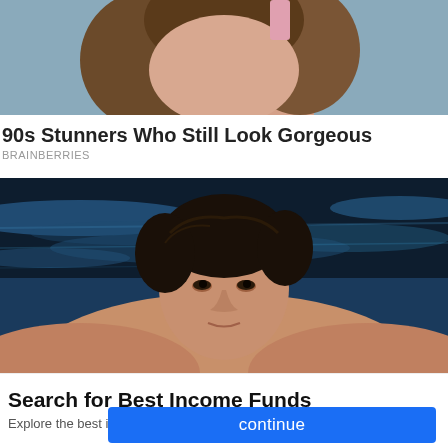[Figure (photo): Partial view of a smiling woman with brown hair against a blue-grey background, cropped at chin level]
90s Stunners Who Still Look Gorgeous
BRAINBERRIES
[Figure (photo): Shirtless man with dark wet hair emerging from a swimming pool, looking at camera against blue water background]
Search for Best Income Funds
Explore the best income funds with Yahoo Search.
continue